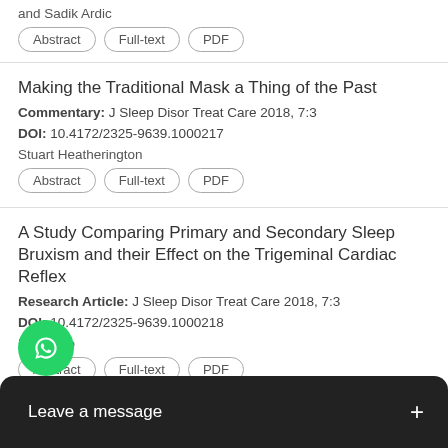and Sadik Ardic
Abstract | Full-text | PDF
Making the Traditional Mask a Thing of the Past
Commentary: J Sleep Disor Treat Care 2018, 7:3
DOI: 10.4172/2325-9639.1000217
Stuart Heatherington
Abstract | Full-text | PDF
A Study Comparing Primary and Secondary Sleep Bruxism and their Effect on the Trigeminal Cardiac Reflex
Research Article: J Sleep Disor Treat Care 2018, 7:3
DOI: 10.4172/2325-9639.1000218
Ken Luco
Abstract | Full-text | PDF
talized Children
Rese...
Care 2018, 7:3
[Figure (screenshot): WhatsApp chat button and Leave a message overlay bar at bottom of screen]